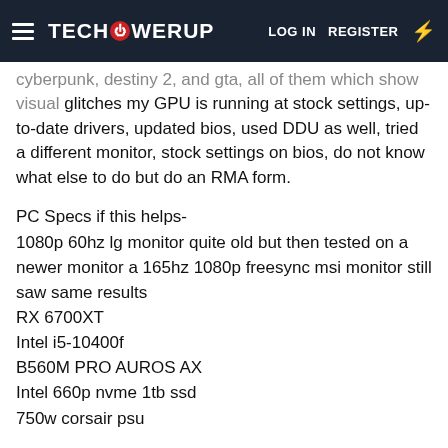TECHPOWERUP  LOG IN  REGISTER
cyberpunk, destiny 2, and gta, all of them which show visual glitches my GPU is running at stock settings, up-to-date drivers, updated bios, used DDU as well, tried a different monitor, stock settings on bios, do not know what else to do but do an RMA form.
PC Specs if this helps-
1080p 60hz lg monitor quite old but then tested on a newer monitor a 165hz 1080p freesync msi monitor still saw same results
RX 6700XT
Intel i5-10400f
B560M PRO AUROS AX
Intel 660p nvme 1tb ssd
750w corsair psu
Cyberpunk Test- The shadows flickering in the distance and seeing bad anti-aliasing issues